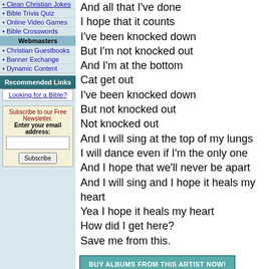• Clean Christian Jokes
• Bible Trivia Quiz
• Online Video Games
• Bible Crosswords
Webmasters
• Christian Guestbooks
• Banner Exchange
• Dynamic Content
Recommended Links
Looking for a Bible?
Subscribe to our Free Newsletter. Enter your email address:
And all that I've done
I hope that it counts
I've been knocked down
But I'm not knocked out
And I'm at the bottom
Cat get out
I've been knocked down
But not knocked out
Not knocked out
And I will sing at the top of my lungs
I will dance even if I'm the only one
And I hope that we'll never be apart
And I will sing and I hope it heals my heart
Yea I hope it heals my heart
How did I get here?
Save me from this.
BUY ALBUMS FROM THIS ARTIST NOW!
Back To Again, for the First Time
Artist Name
Sponsored Links
Looking for a Bible? Find the right B